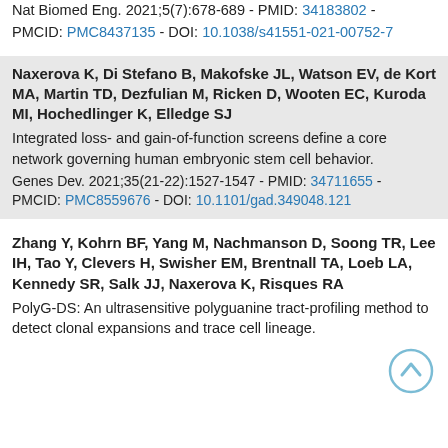Nat Biomed Eng. 2021;5(7):678-689 - PMID: 34183802 - PMCID: PMC8437135 - DOI: 10.1038/s41551-021-00752-7
Naxerova K, Di Stefano B, Makofske JL, Watson EV, de Kort MA, Martin TD, Dezfulian M, Ricken D, Wooten EC, Kuroda MI, Hochedlinger K, Elledge SJ
Integrated loss- and gain-of-function screens define a core network governing human embryonic stem cell behavior.
Genes Dev. 2021;35(21-22):1527-1547 - PMID: 34711655 - PMCID: PMC8559676 - DOI: 10.1101/gad.349048.121
Zhang Y, Kohrn BF, Yang M, Nachmanson D, Soong TR, Lee IH, Tao Y, Clevers H, Swisher EM, Brentnall TA, Loeb LA, Kennedy SR, Salk JJ, Naxerova K, Risques RA
PolyG-DS: An ultrasensitive polyguanine tract-profiling method to detect clonal expansions and trace cell lineage.